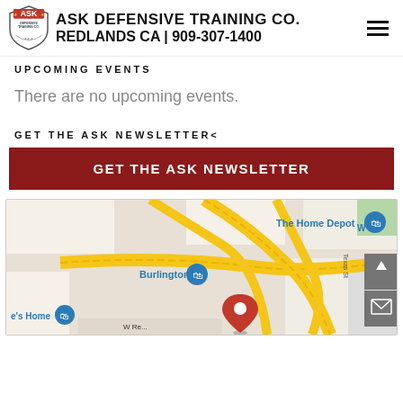ASK DEFENSIVE TRAINING CO. REDLANDS CA | 909-307-1400
UPCOMING EVENTS
There are no upcoming events.
GET THE ASK NEWSLETTER<
GET THE ASK NEWSLETTER
[Figure (map): Google Maps view showing location of ASK Defensive Training Co. in Redlands, CA near Burlington, The Home Depot, at the intersection of roads including W Redlands Blvd and Tennessee St. A red map pin marks the exact location.]